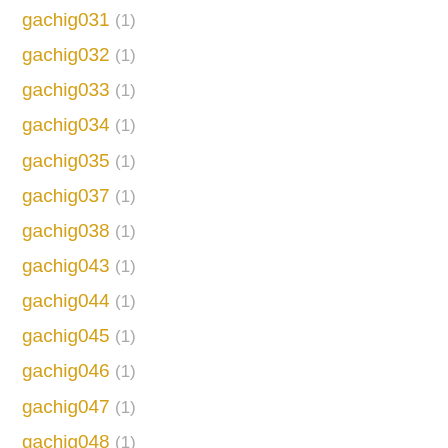gachig031 (1)
gachig032 (1)
gachig033 (1)
gachig034 (1)
gachig035 (1)
gachig037 (1)
gachig038 (1)
gachig043 (1)
gachig044 (1)
gachig045 (1)
gachig046 (1)
gachig047 (1)
gachig048 (1)
gachig049 (1)
gachig050 (1)